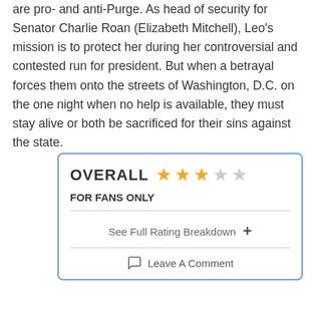are pro- and anti-Purge. As head of security for Senator Charlie Roan (Elizabeth Mitchell), Leo's mission is to protect her during her controversial and contested run for president. But when a betrayal forces them onto the streets of Washington, D.C. on the one night when no help is available, they must stay alive or both be sacrificed for their sins against the state.
[Figure (infographic): Overall rating box with 3 out of 5 stars, label 'FOR FANS ONLY', a 'See Full Rating Breakdown' link with plus icon, and a 'Leave A Comment' link with speech bubble icon, all inside a blue-bordered rounded rectangle.]